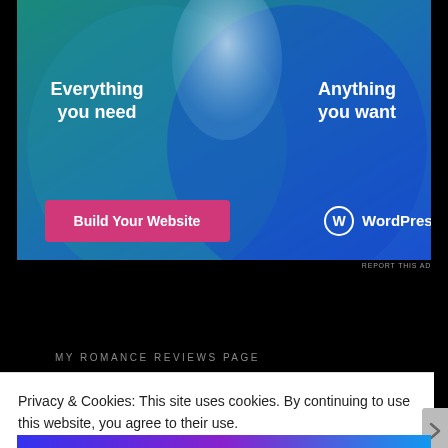[Figure (illustration): WordPress.com advertisement banner with teal-to-blue gradient background, two overlapping circles (Venn diagram style), white text 'Everything you need' on left and 'Anything you want' on right, a pink 'Build Your Website' button on bottom-left, and WordPress.com logo on bottom-right]
REPORT THIS AD
MY ROMANCE REVIEWS PAGE
Privacy & Cookies: This site uses cookies. By continuing to use this website, you agree to their use.
To find out more, including how to control cookies, see here: Cookie Policy
Close and accept